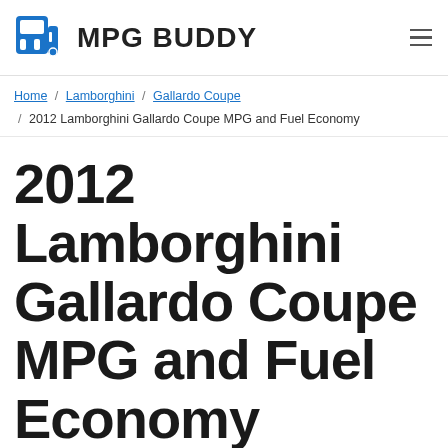MPG BUDDY
Home / Lamborghini / Gallardo Coupe / 2012 Lamborghini Gallardo Coupe MPG and Fuel Economy
2012 Lamborghini Gallardo Coupe MPG and Fuel Economy
On this page, you will find a